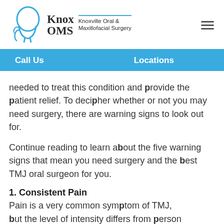[Figure (logo): Knox OMS - Knoxville Oral & Maxillofacial Surgery logo with blue head silhouette outline]
Call Us    Locations
needed to treat this condition and provide the patient relief. To decipher whether or not you may need surgery, there are warning signs to look out for.
Continue reading to learn about the five warning signs that mean you need surgery and the best TMJ oral surgeon for you.
1. Consistent Pain
Pain is a very common symptom of TMJ, but the level of intensity differs from person